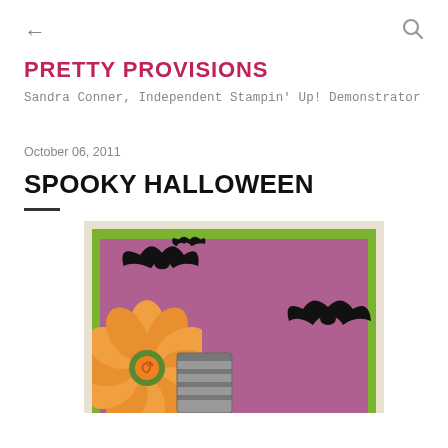← (back) | (search)
PRETTY PROVISIONS
Sandra Conner, Independent Stampin' Up! Demonstrator
October 06, 2011
SPOOKY HALLOWEEN
[Figure (photo): Halloween craft card with purple background, black bat silhouettes, orange decorative flower, and gray striped element, framed with green border on tan background.]